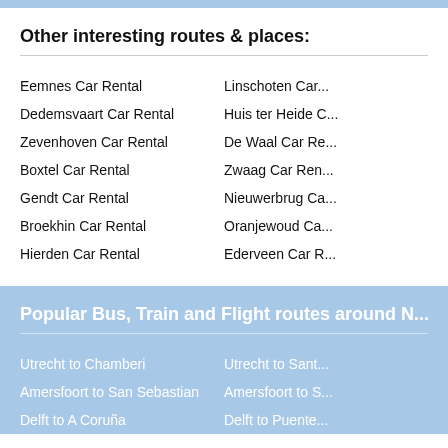Other interesting routes & places:
Eemnes Car Rental
Linschoten Car...
Dedemsvaart Car Rental
Huis ter Heide C...
Zevenhoven Car Rental
De Waal Car Re...
Boxtel Car Rental
Zwaag Car Ren...
Gendt Car Rental
Nieuwerbrug Ca...
Broekhin Car Rental
Oranjewoud Ca...
Hierden Car Rental
Ederveen Car R...
Popular Bus, Train and Flight routes around N...
Utrecht to Chamberi
Utrecht to Sant...
Amersfoort to San Sebastian
Amersfoort to S...
Delft to A Coruña
Delft to Puente...